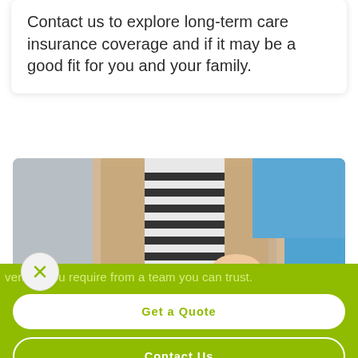Contact us to explore long-term care insurance coverage and if it may be a good fit for you and your family.
[Figure (photo): A caregiver in blue scrubs holding the hands of an elderly person wearing a beige knit cardigan and striped shirt, in a warm indoor setting.]
verage you require from a team you can trust.
Get a Quote
Contact Us